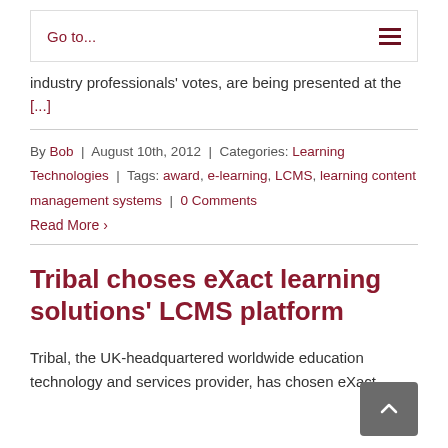Go to...
industry professionals' votes, are being presented at the [...]
By Bob | August 10th, 2012 | Categories: Learning Technologies | Tags: award, e-learning, LCMS, learning content management systems | 0 Comments
Read More >
Tribal choses eXact learning solutions' LCMS platform
Tribal, the UK-headquartered worldwide education technology and services provider, has chosen eXact